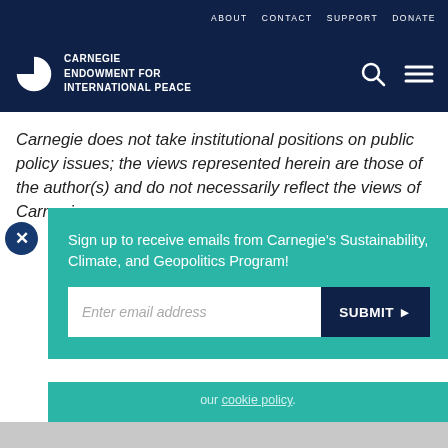ABOUT   CONTACT   SUPPORT   DONATE
[Figure (logo): Carnegie Endowment for International Peace logo with globe icon and white text on dark navy background]
Carnegie does not take institutional positions on public policy issues; the views represented herein are those of the author(s) and do not necessarily reflect the views of Carnegie.
Sign up to receive emails from Carnegie's Sustainability, Climate, and Geopolitics Program!
Enter email address
SUBMIT ▶
our cookie policy.
Print  Share  Facebook  Twitter  WhatsApp  Messenger  LinkedIn